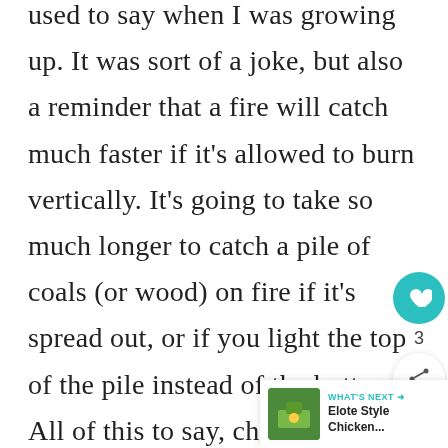used to say when I was growing up. It was sort of a joke, but also a reminder that a fire will catch much faster if it's allowed to burn vertically. It's going to take so much longer to catch a pile of coals (or wood) on fire if it's spread out, or if you light the top of the pile instead of the bottom. All of this to say, charcoal chimneys allow the fire to burn vertically. This helps you charcoal catch fire much faster,
[Figure (other): Social media UI overlay: heart/like button (teal circle) showing count '3', share button, and 'WHAT'S NEXT' panel with thumbnail image and text 'Elote Style Chicken...']